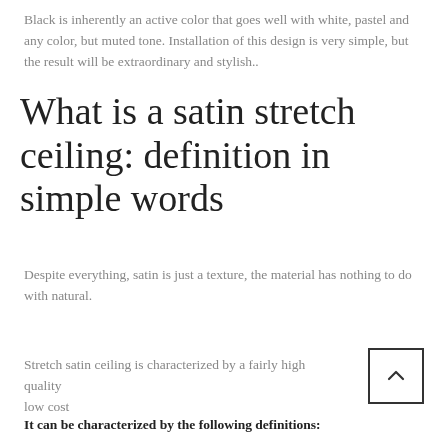Black is inherently an active color that goes well with white, pastel and any color, but muted tone. Installation of this design is very simple, but the result will be extraordinary and stylish..
What is a satin stretch ceiling: definition in simple words
Despite everything, satin is just a texture, the material has nothing to do with natural.
Stretch satin ceiling is characterized by a fairly high quality low cost
It can be characterized by the following definitions: